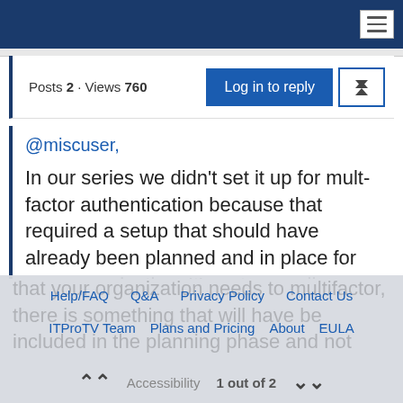Posts 2 · Views 760
@miscuser,
In our series we didn't set it up for mult-factor authentication because that required a setup that should have already been planned and in place for your organization. It's not normally something you just setup for Office 365. So the purpose of mentioning here was to remind us that your organization needs to multifactor, there is something that will have be included in the planning phase and not added in later on.
Help/FAQ  Q&A  Privacy Policy  Contact Us  ITProTV Team  Plans and Pricing  About  EULA  Accessibility  1 out of 2